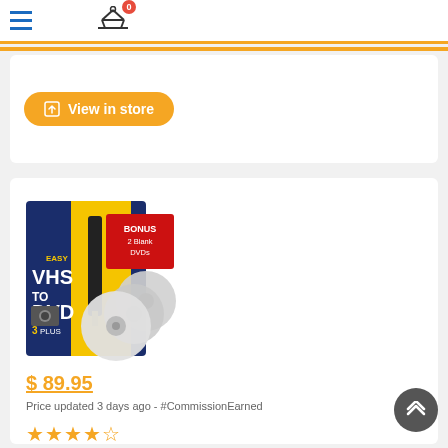Navigation bar with hamburger menu and compare icon with badge 0
[Figure (screenshot): View in store orange button]
[Figure (photo): Roxio Easy VHS to DVD 3 Plus product box with USB capture device and bonus 2 blank DVDs]
$ 89.95
Price updated 3 days ago - #CommissionEarned
★★★★☆
Roxio Easy VHS to DVD 3 Plus | VHS
Find many great new & used options and get the best deals for